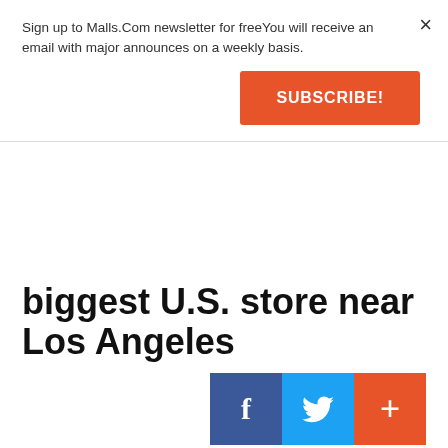Sign up to Malls.Com newsletter for freeYou will receive an email with major announces on a weekly basis.
[Figure (other): Orange SUBSCRIBE! button]
biggest U.S. store near Los Angeles
[Figure (other): Social sharing icons: Facebook (blue f), Twitter (blue bird), and a red plus button]
IKEA got the unanimous green light from the Burbank City Council this week to build its largest furniture store in the nation in Burbank.
Click here to subscribe to Malls.Com's weekly email newsletter for free